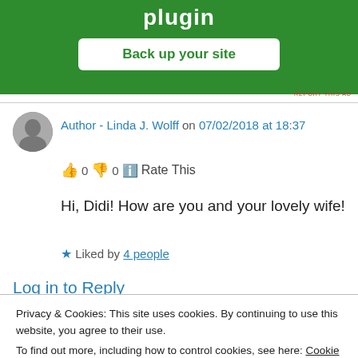[Figure (screenshot): Green banner with 'plugin' title and 'Back up your site' button]
REPORT THIS AD
Author - Linda J. Wolff on 07/02/2018 at 18:37
👍 0 👎 0 ℹ Rate This
Hi, Didi! How are you and your lovely wife!
★ Liked by 4 people
Log in to Reply
Privacy & Cookies: This site uses cookies. By continuing to use this website, you agree to their use.
To find out more, including how to control cookies, see here: Cookie Policy
Close and accept
Dear Linda,